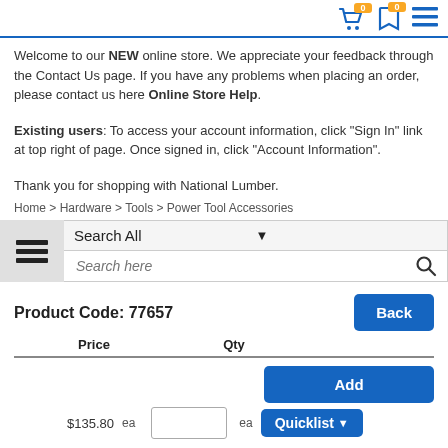Navigation header with cart (0), bookmark (0), and menu icons
Welcome to our NEW online store. We appreciate your feedback through the Contact Us page. If you have any problems when placing an order, please contact us here Online Store Help.
Existing users: To access your account information, click "Sign In" link at top right of page. Once signed in, click "Account Information".
Thank you for shopping with National Lumber.
Home > Hardware > Tools > Power Tool Accessories
Search All | Search here
Product Code: 77657
| Price | Qty |
| --- | --- |
| $135.80  ea | ea |
Add | Quicklist